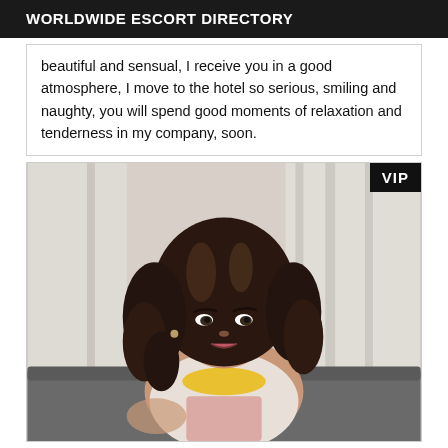WORLDWIDE ESCORT DIRECTORY
beautiful and sensual, I receive you in a good atmosphere, I move to the hotel so serious, smiling and naughty, you will spend good moments of relaxation and tenderness in my company, soon.
[Figure (photo): Portrait photo of a woman with long curly dark brown hair, sitting on a grey couch, wearing a white lace top and yellow scarf, with white curtains in background. VIP badge in top-right corner.]